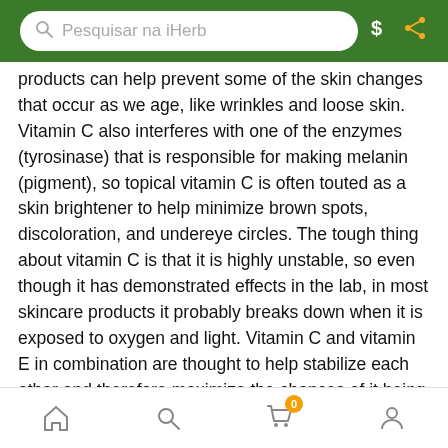Pesquisar na iHerb
products can help prevent some of the skin changes that occur as we age, like wrinkles and loose skin. Vitamin C also interferes with one of the enzymes (tyrosinase) that is responsible for making melanin (pigment), so topical vitamin C is often touted as a skin brightener to help minimize brown spots, discoloration, and undereye circles. The tough thing about vitamin C is that it is highly unstable, so even though it has demonstrated effects in the lab, in most skincare products it probably breaks down when it is exposed to oxygen and light. Vitamin C and vitamin E in combination are thought to help stabilize each other and therefore maximize the chances of it being effective. In addition, vitamin C in combination
Get 22% off your first order! Use promo code: 22NEW at checkout
Learn More
[Figure (logo): Google logo with star rating 4.9, Over 23,000 reviews]
Home | Search | Cart (0) | Account